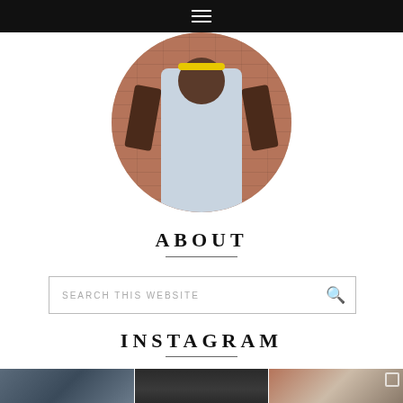Navigation menu (hamburger icon)
[Figure (photo): Circular cropped photo of a smiling young girl with yellow headband, being held up by adult hands, with brick wall background]
ABOUT
[Figure (screenshot): Search box with text SEARCH THIS WEBSITE and a magnifying glass icon]
INSTAGRAM
[Figure (photo): Three Instagram thumbnail photos in a row: fabric/textile, dark door, and a young girl with pink headband]